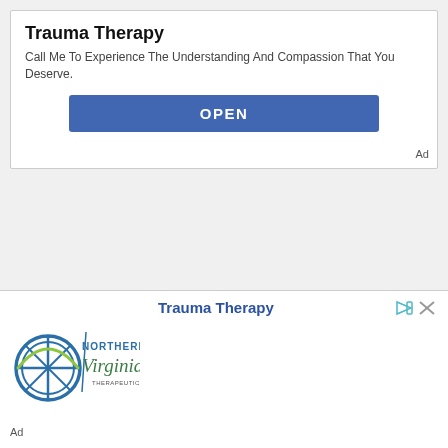Trauma Therapy
Call Me To Experience The Understanding And Compassion That You Deserve.
OPEN
Ad
[Figure (logo): Northern Virginia Therapeutic Services logo with circular emblem]
Trauma Therapy
Ad